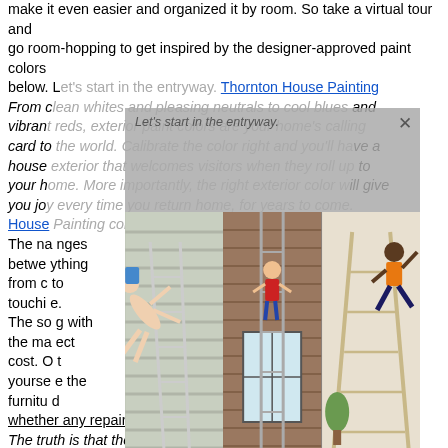make it even easier and organized it by room. So take a virtual tour and go room-hopping to get inspired by the designer-approved paint colors below. Let's start in the entryway. Thornton House Painting
From clean whites and pleasing neutrals to cool blues and vibrant reds, exterior paint colors are your home's calling card to the world. Calibrate the color right and you'll have a house exterior that welcomes visitors when they roll up to your home. More importantly, the right exterior color will give you joy every time you return home, for years to come.
House [link]
The name... anges between... ything from c... to touching... The so... g with the ma... ect cost. O... t yourself... e the furniture... d whether any repair work is needed on the walls.
[Figure (photo): Three photos side by side showing people on ladders painting house exteriors and interiors, with an acrobat/gymnast overlaid]
The truth is that there are a lot of things that can go wrong with a sloppy painting job and the crappy results will be instantly visible. Prepping the ceiling and walls as well as carefully repairing any damages is 50% of a successful job.